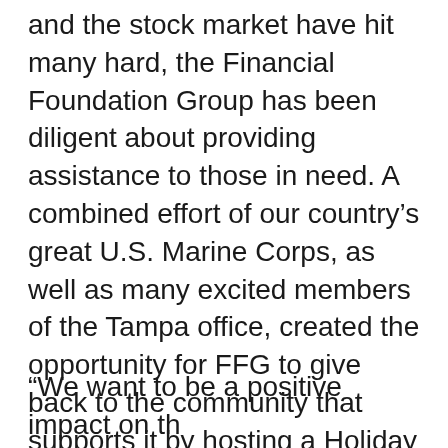and the stock market have hit many hard, the Financial Foundation Group has been diligent about providing assistance to those in need. A combined effort of our country's great U.S. Marine Corps, as well as many excited members of the Tampa office, created the opportunity for FFG to give back to the community that supports it by hosting a Holiday brunch and Toys for Tots collection event on December 12, 2009. Instead of enjoying a well deserved day off on the weekend, the staff of Financial Foundation Group in Tampa dressed up the office in holiday trimmings, provided festive foods and entertainment, and opened its doors to the community for its first annual toy drive.
“We want to be a positive impact on the...